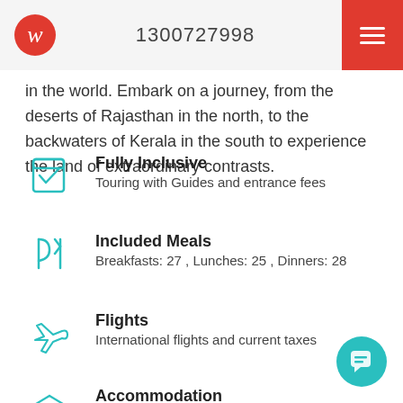1300727998
in the world. Embark on a journey, from the deserts of Rajasthan in the north, to the backwaters of Kerala in the south to experience the land of extraordinary contrasts.
Fully Inclusive — Touring with Guides and entrance fees
Included Meals — Breakfasts: 27 , Lunches: 25 , Dinners: 28
Flights — International flights and current taxes
Accommodation — 27 nights in 3/4 star accommodation